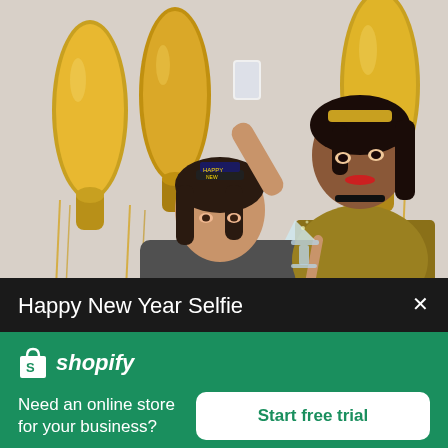[Figure (photo): Two women at a New Year's party celebrating. One woman (left) is taking a selfie holding a phone up, wearing a grey sweater and a 'Happy New Year' tiara. The other woman (right) wears a gold sequined outfit and holds a champagne glass, smiling. Background shows large gold foil balloon letters and gold tinsel decorations.]
Happy New Year Selfie
[Figure (logo): Shopify logo: white shopping bag icon with 'S' followed by italic bold text 'shopify' in white]
Need an online store for your business?
Start free trial